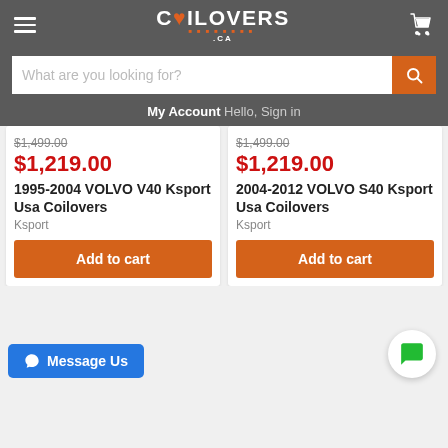[Figure (screenshot): Coilovers.ca website header with hamburger menu, logo, and cart icon on dark grey background]
What are you looking for?
My Account Hello, Sign in
$1,499.00
$1,219.00
1995-2004 VOLVO V40 Ksport Usa Coilovers
Ksport
Add to cart
$1,499.00
$1,219.00
2004-2012 VOLVO S40 Ksport Usa Coilovers
Ksport
Add to cart
[Figure (other): Green chat bubble icon in white circle]
[Figure (other): Blue Message Us button with Messenger icon]